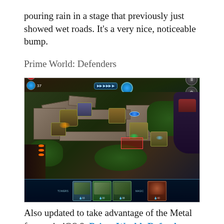pouring rain in a stage that previously just showed wet roads. It's a very nice, noticeable bump.
Prime World: Defenders
[Figure (screenshot): Screenshot of Prime World: Defenders game showing an isometric tower defense map with stone pathways, green terrain, multiple tower structures, and game UI elements including health/mana indicators, playback controls, and a card tray at the bottom.]
Also updated to take advantage of the Metal feature in iOS 8, Prime World: Defenders (free) is an attractive tower defense affair in which you'll plop down turrets and other offensive-minded structures